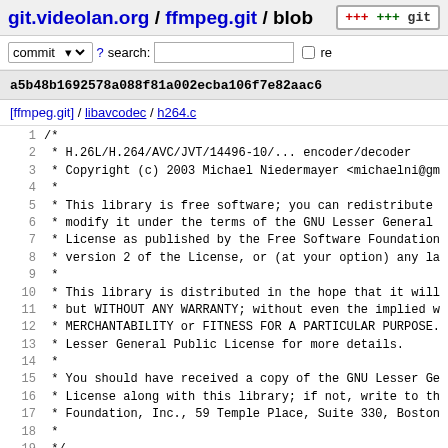git.videolan.org / ffmpeg.git / blob
commit ? search: re
a5b48b1692578a088f81a002ecba106f7e82aac6
[ffmpeg.git] / libavcodec / h264.c
[Figure (screenshot): Source code view of h264.c showing lines 1-21 with C comment block license header]
1 /*
2  * H.26L/H.264/AVC/JVT/14496-10/... encoder/decoder
3  * Copyright (c) 2003 Michael Niedermayer <michaelni@gm
4  *
5  * This library is free software; you can redistribute
6  * modify it under the terms of the GNU Lesser General
7  * License as published by the Free Software Foundation
8  * version 2 of the License, or (at your option) any la
9  *
10  * This library is distributed in the hope that it will
11  * but WITHOUT ANY WARRANTY; without even the implied w
12  * MERCHANTABILITY or FITNESS FOR A PARTICULAR PURPOSE.
13  * Lesser General Public License for more details.
14  *
15  * You should have received a copy of the GNU Lesser Ge
16  * License along with this library; if not, write to th
17  * Foundation, Inc., 59 Temple Place, Suite 330, Boston
18  *
19  */
20
21 /**